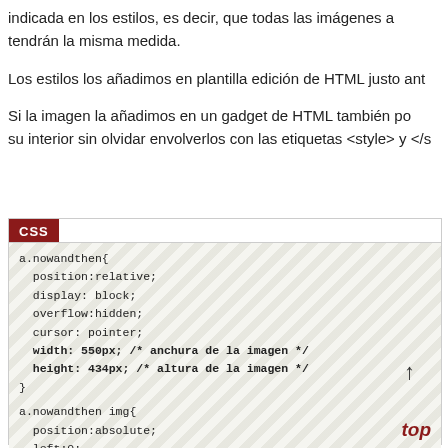indicada en los estilos, es decir, que todas las imágenes a tendrán la misma medida.
Los estilos los añadimos en plantilla edición de HTML justo ant
Si la imagen la añadimos en un gadget de HTML también po su interior sin olvidar envolverlos con las etiquetas <style> y </s
[Figure (screenshot): CSS code block with dark red CSS label header, showing CSS code for a.nowandthen selector with properties: position:relative; display: block; overflow:hidden; cursor: pointer; width: 550px; /* anchura de la imagen */ height: 434px; /* altura de la imagen */ } and then a.nowandthen img{ position:absolute; left:0; with an arrow and 'top' label in red at bottom right]